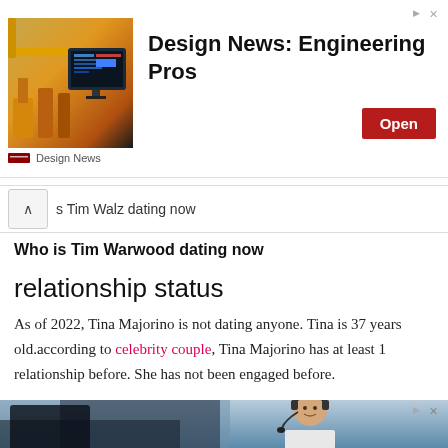[Figure (screenshot): Advertisement banner for Design News: Engineering Pros with thumbnail showing industrial machinery and a screen, an Open button, and Design News branding.]
s Tim Walz dating now
Who is Tim Warwood dating now
relationship status
As of 2022, Tina Majorino is not dating anyone. Tina is 37 years old.according to celebrity couple, Tina Majorino has at least 1 relationship before. She has not been engaged before.
[Figure (photo): Bottom advertisement banner showing a smiling man wearing a headset, appearing to be a call center representative. The banner has a blue-toned background.]